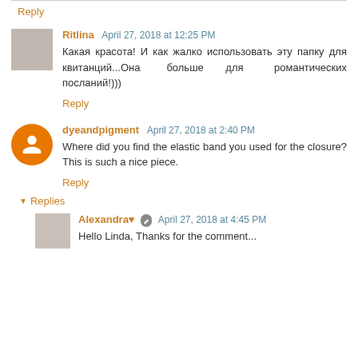Reply
Ritlina  April 27, 2018 at 12:25 PM
Какая красота! И как жалко использовать эту папку для квитанций...Она больше для романтических посланий!)))
Reply
dyeandpigment  April 27, 2018 at 2:40 PM
Where did you find the elastic band you used for the closure? This is such a nice piece.
Reply
Replies
Alexandra♥  April 27, 2018 at 4:45 PM
Hello Linda, Thanks for the comment...